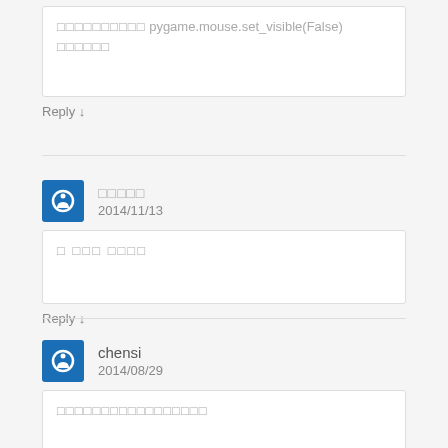pygame.mouse.set_visible(False)
Reply ↓
2014/11/13
Reply ↓
chensi
2014/08/29
Reply ↓